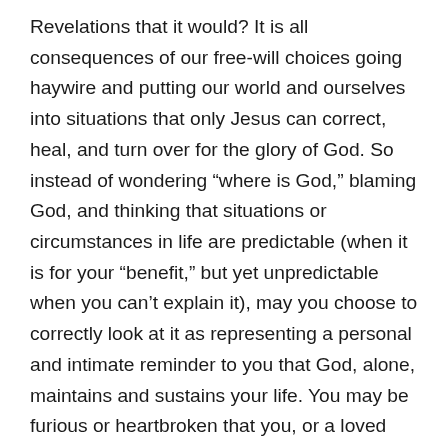Revelations that it would? It is all consequences of our free-will choices going haywire and putting our world and ourselves into situations that only Jesus can correct, heal, and turn over for the glory of God. So instead of wondering “where is God,” blaming God, and thinking that situations or circumstances in life are predictable (when it is for your “benefit,” but yet unpredictable when you can’t explain it), may you choose to correctly look at it as representing a personal and intimate reminder to you that God, alone, maintains and sustains your life. You may be furious or heartbroken that you, or a loved one, have to live with a chronic illness, or with chronic situations that are horrible, however, is it not a miracle that your inward strength increases, your praises become louder and more passionate, and you find yourself having to turn first to Jesus each day in order to be able to simply breathe,